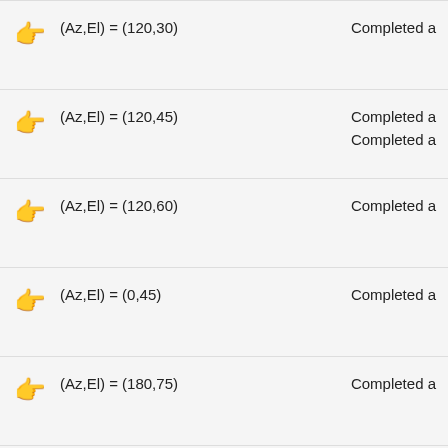(Az,El) = (120,30)   Completed a
(Az,El) = (120,45)   Completed a
Completed a
(Az,El) = (120,60)   Completed a
(Az,El) = (0,45)   Completed a
(Az,El) = (180,75)   Completed a
(Az,El) = (180,30)   Completed a